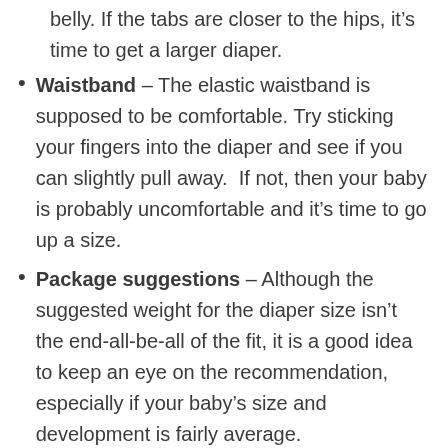belly. If the tabs are closer to the hips, it's time to get a larger diaper.
Waistband – The elastic waistband is supposed to be comfortable. Try sticking your fingers into the diaper and see if you can slightly pull away.  If not, then your baby is probably uncomfortable and it's time to go up a size.
Package suggestions – Although the suggested weight for the diaper size isn't the end-all-be-all of the fit, it is a good idea to keep an eye on the recommendation, especially if your baby's size and development is fairly average.